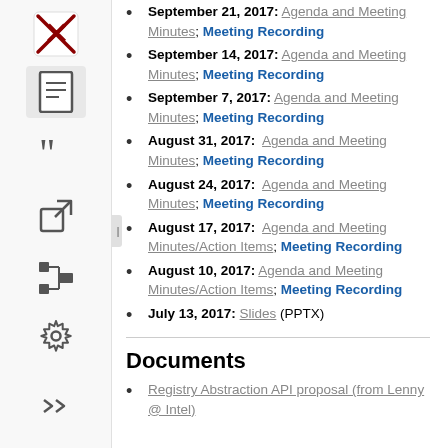September 21, 2017: Agenda and Meeting Minutes; Meeting Recording
September 14, 2017: Agenda and Meeting Minutes; Meeting Recording
September 7, 2017: Agenda and Meeting Minutes; Meeting Recording
August 31, 2017:  Agenda and Meeting Minutes; Meeting Recording
August 24, 2017:  Agenda and Meeting Minutes; Meeting Recording
August 17, 2017:  Agenda and Meeting Minutes/Action Items; Meeting Recording
August 10, 2017: Agenda and Meeting Minutes/Action Items; Meeting Recording
July 13, 2017: Slides (PPTX)
Documents
Registry Abstraction API proposal (from Lenny @ Intel)